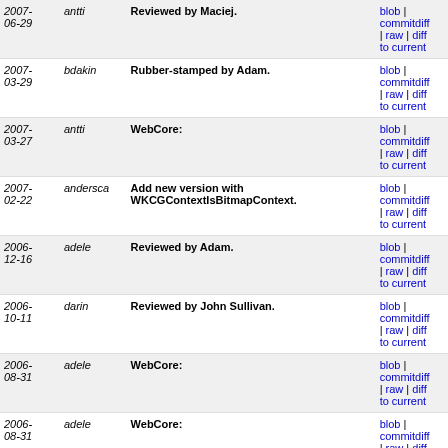| date | author | message | links |
| --- | --- | --- | --- |
| 2007-06-29 | antti | Reviewed by Maciej. | blob | commitdiff | raw | diff to current |
| 2007-03-29 | bdakin | Rubber-stamped by Adam. | blob | commitdiff | raw | diff to current |
| 2007-03-27 | antti | WebCore: | blob | commitdiff | raw | diff to current |
| 2007-02-22 | andersca | Add new version with WKCGContextIsBitmapContext. | blob | commitdiff | raw | diff to current |
| 2006-12-16 | adele | Reviewed by Adam. | blob | commitdiff | raw | diff to current |
| 2006-10-11 | darin | Reviewed by John Sullivan. | blob | commitdiff | raw | diff to current |
| 2006-08-31 | adele | WebCore: | blob | commitdiff | raw | diff to current |
| 2006-08-31 | adele | WebCore: | blob | commitdiff | raw | diff to current |
| 2006-07-09 | andersca | 2006-07-09 Anders Carlsson <acarlsson@apple.com> | blob | commitdiff | raw | diff to current |
| 2006-07-06 | adele | WebCore: | blob | commitdiff | raw | diff to current |
| 2006- | adele | WebCore: | blob | commitdiff | raw | diff to current |